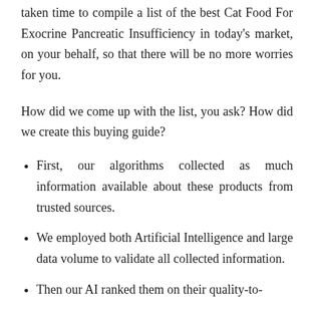taken time to compile a list of the best Cat Food For Exocrine Pancreatic Insufficiency in today's market, on your behalf, so that there will be no more worries for you.
How did we come up with the list, you ask? How did we create this buying guide?
First, our algorithms collected as much information available about these products from trusted sources.
We employed both Artificial Intelligence and large data volume to validate all collected information.
Then our AI ranked them on their quality-to-